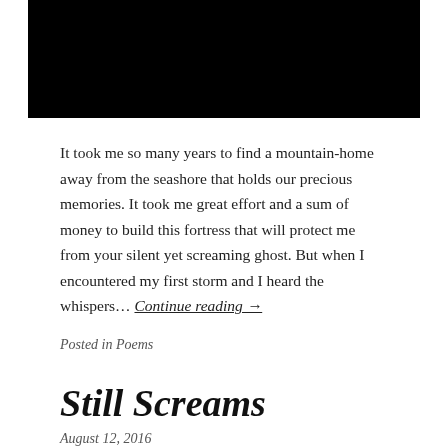[Figure (photo): Black rectangle image at top of page]
It took me so many years to find a mountain-home away from the seashore that holds our precious memories. It took me great effort and a sum of money to build this fortress that will protect me from your silent yet screaming ghost. But when I encountered my first storm and I heard the whispers… Continue reading →
Posted in Poems
Still Screams
August 12, 2016